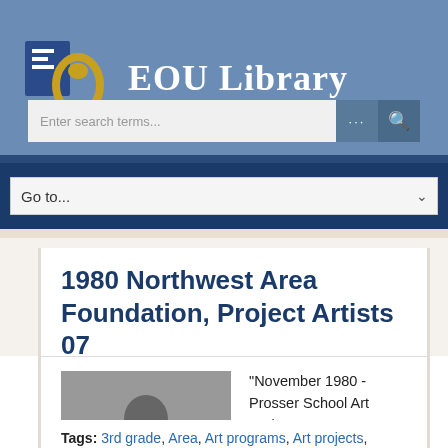[Figure (logo): EOU Library logo with stylized E and O letters in blue and gold, alongside text 'EOU Library']
[Figure (screenshot): Search bar with placeholder text 'Enter search terms...' and search button]
[Figure (screenshot): Navigation dropdown with 'Go to...' option]
1980 Northwest Area Foundation, Project Artists 07
[Figure (photo): Black and white photo of a person drawing or working on art]
"November 1980 - Prosser School Art Project - NWA [Northwest Area] Foundation - Local artists in the schools programs"
Tags: 3rd grade, Area, Art programs, Art projects, Artists, Eastern Oregon State College, EOSC...